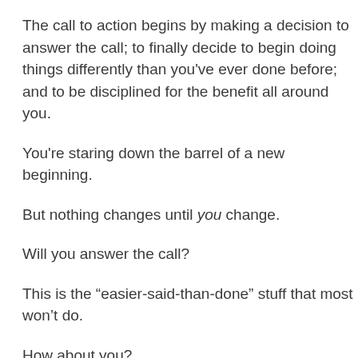The call to action begins by making a decision to answer the call; to finally decide to begin doing things differently than you've ever done before; and to be disciplined for the benefit all around you.
You're staring down the barrel of a new beginning.
But nothing changes until you change.
Will you answer the call?
This is the “easier-said-than-done” stuff that most won’t do.
How about you?
Stay tuned-in…
Please share and click HERE for info on